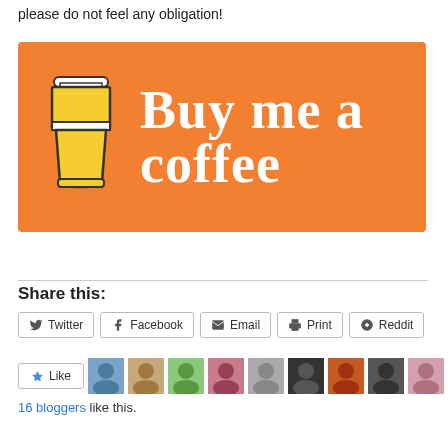please do not feel any obligation!
[Figure (illustration): Buy me a coffee banner with orange background, coffee cup icon on left, and cursive white text 'Buy me a coffee' on right]
Share this:
Twitter  Facebook  Email  Print  Reddit
Like
16 bloggers like this.